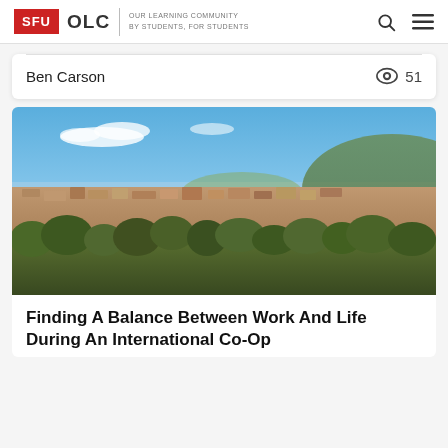SFU OLC | OUR LEARNING COMMUNITY BY STUDENTS, FOR STUDENTS
Ben Carson   👁 51
[Figure (photo): Aerial panoramic view of a Mediterranean city with terracotta rooftops, green trees in the foreground, and a blue sky with scattered clouds. A distant sea or lake is visible on the horizon with hills to the right.]
Finding A Balance Between Work And Life During An International Co-Op